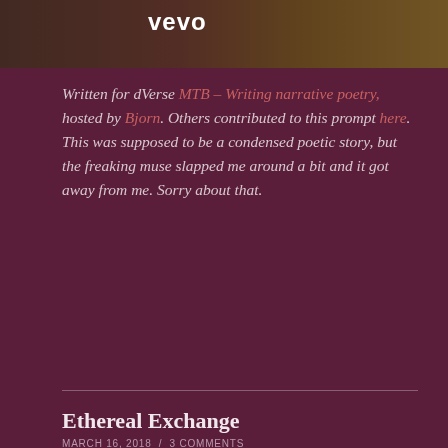[Figure (photo): Top image with 'vevo' logo text in white, showing a blurred colorful background]
Written for dVerse MTB – Writing narrative poetry, hosted by Bjorn. Others contributed to this prompt here. This was supposed to be a condensed poetic story, but the freaking muse slapped me around a bit and it got away from me. Sorry about that.
Ethereal Exchange
MARCH 16, 2018  /  3 COMMENTS
[Figure (photo): Close-up photo of hands, possibly holding or touching, with warm skin tones]